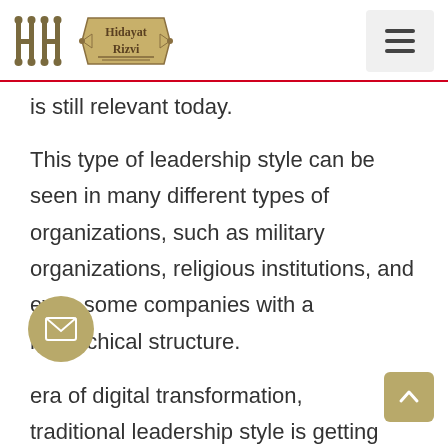Hidayat Rizvi
is still relevant today.
This type of leadership style can be seen in many different types of organizations, such as military organizations, religious institutions, and even some companies with a hierarchical structure.
era of digital transformation, traditional leadership style is getting obsolete. The shift in the leadership style is